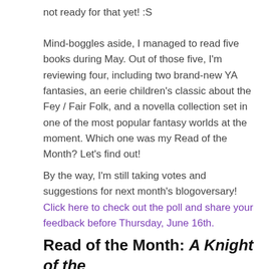not ready for that yet! :S
Mind-boggles aside, I managed to read five books during May. Out of those five, I'm reviewing four, including two brand-new YA fantasies, an eerie children's classic about the Fey / Fair Folk, and a novella collection set in one of the most popular fantasy worlds at the moment. Which one was my Read of the Month? Let's find out!
By the way, I'm still taking votes and suggestions for next month's blogoversary! Click here to check out the poll and share your feedback before Thursday, June 16th.
Read of the Month: A Knight of the